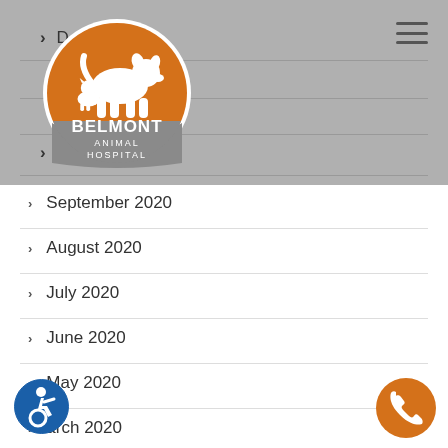[Figure (logo): Belmont Animal Hospital logo — orange circle with white silhouettes of a dog and cat, text BELMONT ANIMAL HOSPITAL]
> D... 20
> Oc... 20
> September 2020
> August 2020
> July 2020
> June 2020
> May 2020
> ...arch 2020